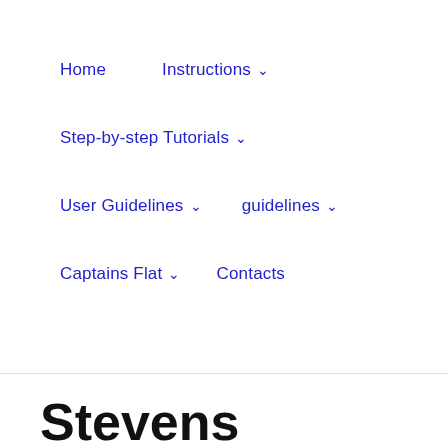Home   Instructions ∨   Step-by-step Tutorials ∨   User Guidelines ∨   guidelines ∨   Captains Flat ∨   Contacts
Stevens Roadhouse Dirt